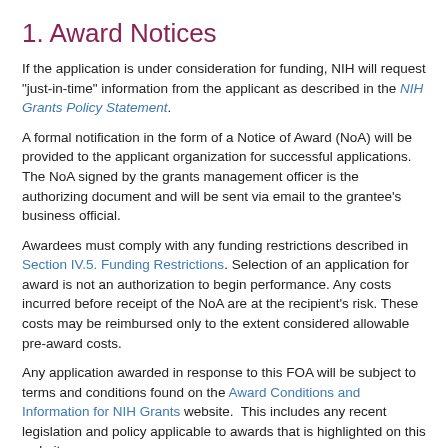1. Award Notices
If the application is under consideration for funding, NIH will request "just-in-time" information from the applicant as described in the NIH Grants Policy Statement.
A formal notification in the form of a Notice of Award (NoA) will be provided to the applicant organization for successful applications. The NoA signed by the grants management officer is the authorizing document and will be sent via email to the grantee's business official.
Awardees must comply with any funding restrictions described in Section IV.5. Funding Restrictions. Selection of an application for award is not an authorization to begin performance. Any costs incurred before receipt of the NoA are at the recipient's risk. These costs may be reimbursed only to the extent considered allowable pre-award costs.
Any application awarded in response to this FOA will be subject to terms and conditions found on the Award Conditions and Information for NIH Grants website.  This includes any recent legislation and policy applicable to awards that is highlighted on this website.
2. Administrative and National Policy Requirements